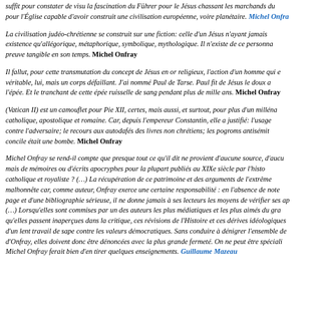suffit pour constater de visu la fascination du Führer pour le Jésus chassant les marchands du temple et pour l'Église capable d'avoir construit une civilisation européenne, voire planétaire. Michel Onfray
La civilisation judéo-chrétienne se construit sur une fiction: celle d'un Jésus n'ayant jamais eu d'existence qu'allégorique, métaphorique, symbolique, mythologique. Il n'existe de ce personnage aucune preuve tangible en son temps. Michel Onfray
Il fallut, pour cette transmutation du concept de Jésus en or religieux, l'action d'un homme qui eut un corps véritable, lui, mais un corps défaillant. J'ai nommé Paul de Tarse. Paul fit de Jésus le doux agneau de l'épée. Et le tranchant de cette épée ruisselle de sang pendant plus de mille ans. Michel Onfray
(Vatican II) est un camouflet pour Pie XII, certes, mais aussi, et surtout, pour plus d'un millénaire d'Église catholique, apostolique et romaine. Car, depuis l'empereur Constantin, elle a justifié: l'usage de la guerre contre l'adversaire; le recours aux autodafés des livres non chrétiens; les pogroms antisémites. Ce concile était une bombe. Michel Onfray
Michel Onfray se rend-il compte que presque tout ce qu'il dit ne provient d'aucune source, d'aucun témoignage, mais de mémoires ou d'écrits apocryphes pour la plupart publiés au XIXe siècle par l'historiographie catholique et royaliste ? (…) La récupération de ce patrimoine et des arguments de l'extrême droite est malhonnête car, comme auteur, Onfray exerce une certaine responsabilité : en l'absence de notes de bas de page et d'une bibliographie sérieuse, il ne donne jamais à ses lecteurs les moyens de vérifier ses affirmations. (…) Lorsqu'elles sont commises par un des auteurs les plus médiatiques et les plus aimés du grand public, et qu'elles passent inaperçues dans la critique, ces révisions de l'Histoire et ces dérives idéologiques participent d'un lent travail de sape contre les valeurs démocratiques. Sans conduire à dénigrer l'ensemble de l'œuvre d'Onfray, elles doivent donc être dénoncées avec la plus grande fermeté. On ne peut être spécialiste de Michel Onfray ferait bien d'en tirer quelques enseignements. Guillaume Mazeau